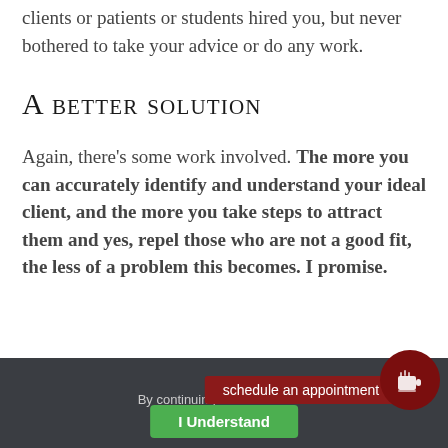clients or patients or students hired you, but never bothered to take your advice or do any work.
A Better Solution
Again, there's some work involved. The more you can accurately identify and understand your ideal client, and the more you take steps to attract them and yes, repel those who are not a good fit, the less of a problem this becomes. I promise.
By continuing to browse the si... schedule an appointment ... I Understand